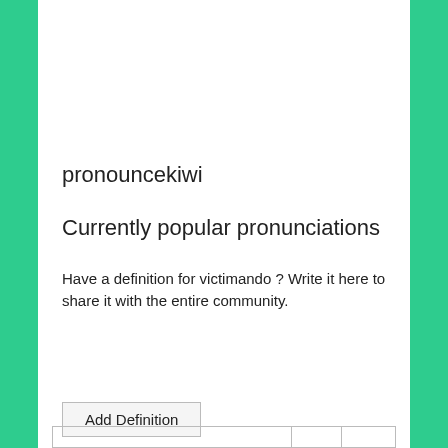pronouncekiwi
Currently popular pronunciations
Have a definition for victimando ? Write it here to share it with the entire community.
[Figure (screenshot): Text area input box with placeholder text 'Enter a definition here']
[Figure (screenshot): Button labeled 'Add Definition']
|  |  |  |